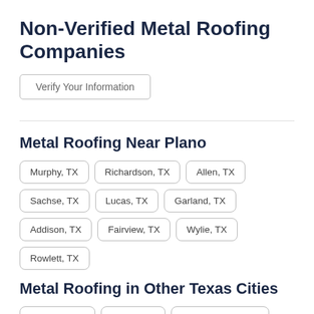Non-Verified Metal Roofing Companies
Verify Your Information
Metal Roofing Near Plano
Murphy, TX
Richardson, TX
Allen, TX
Sachse, TX
Lucas, TX
Garland, TX
Addison, TX
Fairview, TX
Wylie, TX
Rowlett, TX
Metal Roofing in Other Texas Cities
Arlington, TX
Austin, TX
Corpus Christi, TX